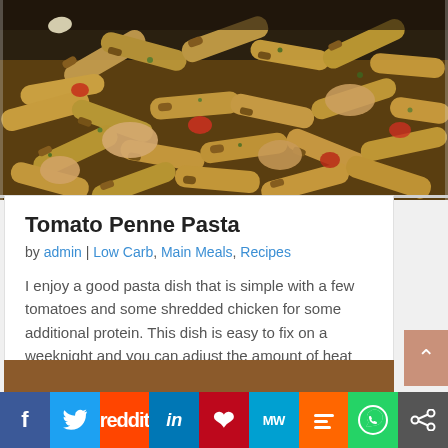[Figure (photo): Close-up photo of Tomato Penne Pasta with shredded chicken, tomatoes, and herbs on a dark plate]
Tomato Penne Pasta
by admin | Low Carb, Main Meals, Recipes
I enjoy a good pasta dish that is simple with a few tomatoes and some shredded chicken for some additional protein. This dish is easy to fix on a weeknight and you can adjust the amount of heat you like by adding more or less of the red pepper flakes. The original...